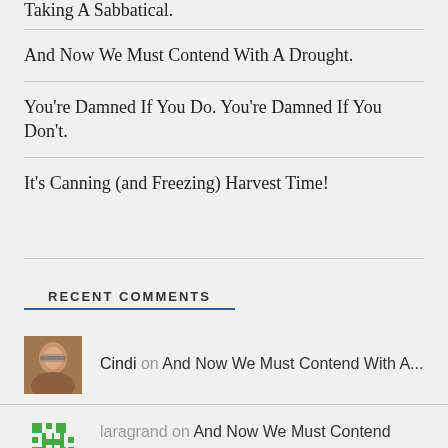Taking A Sabbatical.
And Now We Must Contend With A Drought.
You're Damned If You Do. You're Damned If You Don't.
It's Canning (and Freezing) Harvest Time!
RECENT COMMENTS
Cindi on And Now We Must Contend With A...
laragrand on And Now We Must Contend With A...
[Figure (photo): Partial avatar photo at bottom]